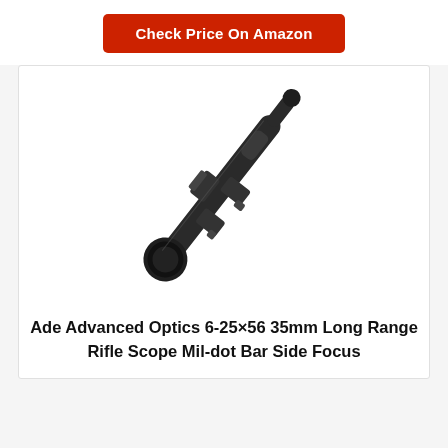Check Price On Amazon
[Figure (photo): A long-range rifle scope (Ade Advanced Optics 6-25x56 35mm) shown diagonally on a white background. The scope is black and tapers from a large objective lens at the bottom-left to a smaller eyepiece at the upper-right, with adjustment turrets visible in the middle.]
Ade Advanced Optics 6-25×56 35mm Long Range Rifle Scope Mil-dot Bar Side Focus